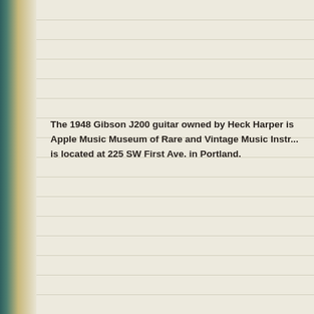The 1948 Gibson J200 guitar owned by Heck Harper is at the Apple Music Museum of Rare and Vintage Music Instruments, which is located at 225 SW First Ave. in Portland.